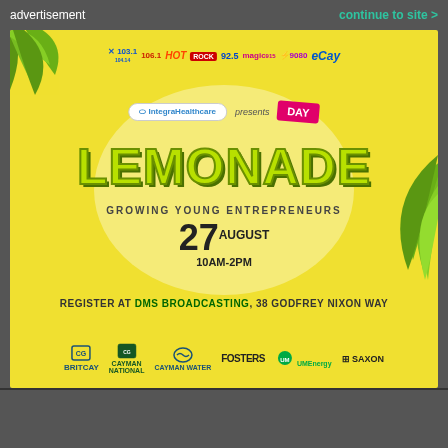advertisement   continue to site >
[Figure (infographic): Lemonade Day advertisement banner with yellow background, palm leaves decoration, radio station logos (103.1, 106.1, HOT, ROCK, 92.5, magic915, 9080, eCay), Integra Healthcare presents Lemonade Day DAY badge, large LEMONADE text, tagline GROWING YOUNG ENTREPRENEURS, date 27 AUGUST 10AM-2PM, register at DMS Broadcasting 38 Godfrey Nixon Way, sponsor logos: BritCay, Cayman National, Cayman Water, Fosters, UMEnergy, Saxon]